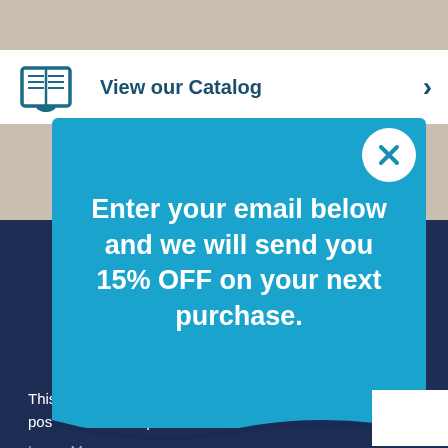[Figure (screenshot): Website background showing catalog bar with book icon and 'View our Catalog' text]
Enter your email below and we will send you 15% OFF on your next purchase.
This website uses cookies to ensure you get the best possible visitor experience.
Learn More
ACCEPT